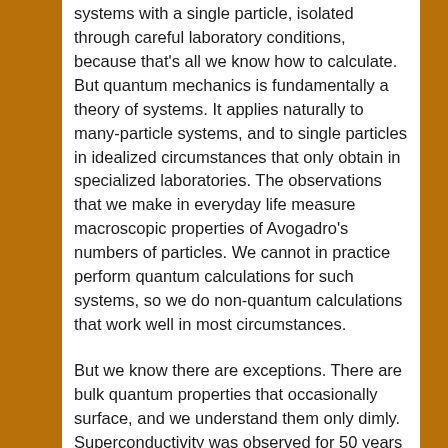systems with a single particle, isolated through careful laboratory conditions, because that's all we know how to calculate. But quantum mechanics is fundamentally a theory of systems. It applies naturally to many-particle systems, and to single particles in idealized circumstances that only obtain in specialized laboratories. The observations that we make in everyday life measure macroscopic properties of Avogadro's numbers of particles. We cannot in practice perform quantum calculations for such systems, so we do non-quantum calculations that work well in most circumstances.
But we know there are exceptions. There are bulk quantum properties that occasionally surface, and we understand them only dimly. Superconductivity was observed for 50 years before there was a theory of it. Lasers are another bulk quantum phenomenon. Low energy nuclear reactions have been reported in dozens of laboratories around the world, but there is no accepted theory for them. They are a complete surprise to physicists who work with the standard approximations [New Scientist article]. Evidence from a handful of